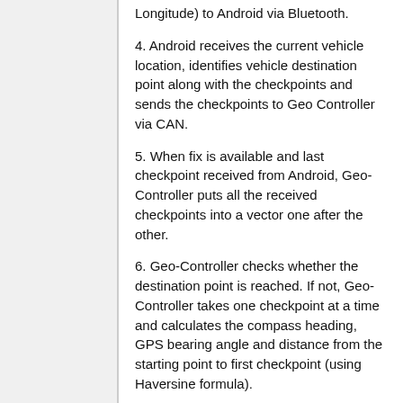Longitude) to Android via Bluetooth.
4. Android receives the current vehicle location, identifies vehicle destination point along with the checkpoints and sends the checkpoints to Geo Controller via CAN.
5. When fix is available and last checkpoint received from Android, Geo-Controller puts all the received checkpoints into a vector one after the other.
6. Geo-Controller checks whether the destination point is reached. If not, Geo-Controller takes one checkpoint at a time and calculates the compass heading, GPS bearing angle and distance from the starting point to first checkpoint (using Haversine formula).
7. After calculating the heading, bearing angles, Geo-Controller decides on which direction the vehicle should move by using the steering control algorithm and gives the direction command to master.
8. Master controls the motor to move in that direction. Once the vehicle reaches the first